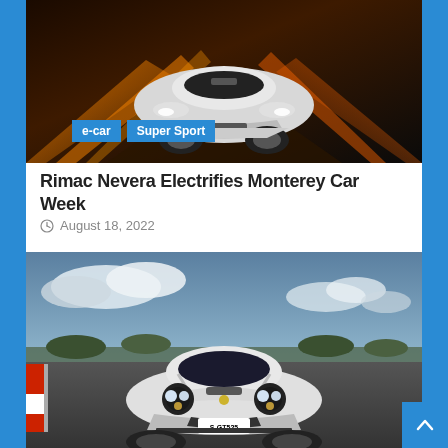[Figure (photo): White Rimac Nevera electric supercar driving on a track at night with orange light streaks, front view. Tags 'e-car' and 'Super Sport' overlaid at bottom left.]
Rimac Nevera Electrifies Monterey Car Week
August 18, 2022
[Figure (photo): White Porsche 911 GT3 with license plate S-GT525 driving on a race track, front view with cloudy sky background.]